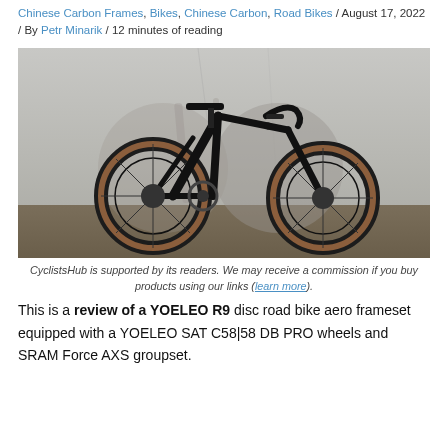Chinese Carbon Frames, Bikes, Chinese Carbon, Road Bikes / August 17, 2022 / By Petr Minarik / 12 minutes of reading
[Figure (photo): A black carbon road bike with brown/tan tires leaning against a concrete wall, casting a shadow shaped like a cyclist. The bike has deep-section carbon wheels, disc brakes, and drop handlebars.]
CyclistsHub is supported by its readers. We may receive a commission if you buy products using our links (learn more).
This is a review of a YOELEO R9 disc road bike aero frameset equipped with a YOELEO SAT C58|58 DB PRO wheels and SRAM Force AXS groupset.